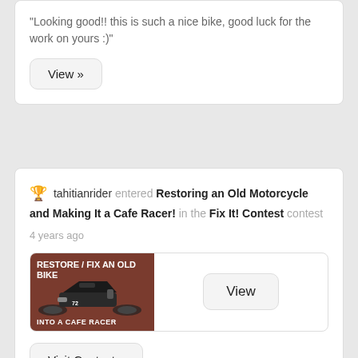“Looking good!! this is such a nice bike, good luck for the work on yours :)"
View »
🏆 tahitianrider entered Restoring an Old Motorcycle and Making It a Cafe Racer! in the Fix It! Contest contest
4 years ago
[Figure (photo): Motorcycle contest image showing a cafe racer bike with text RESTORE / FIX AN OLD BIKE and INTO A CAFE RACER]
View
Visit Contest »